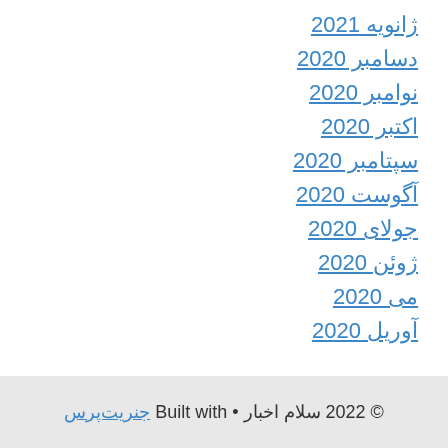ژانویه 2021
دسامبر 2020
نوامبر 2020
اکتبر 2020
سپتامبر 2020
آگوست 2020
جولای 2020
ژوئن 2020
می 2020
آوریل 2020
© 2022 سلام اخبار • Built with جنریت‌پرس